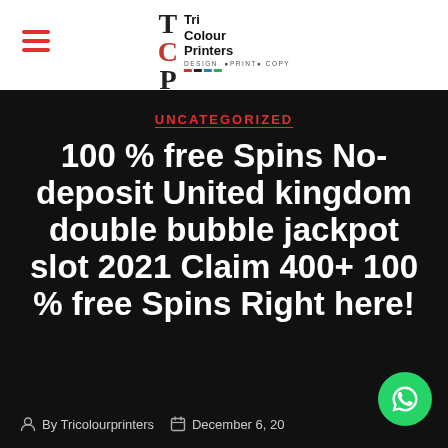Tri Colour Printers — DESIGN PRINT COPY
UNCATEGORIZED
100 % free Spins No-deposit United kingdom double bubble jackpot slot 2021 Claim 400+ 100 % free Spins Right here!
By Tricolourprinters   December 6, 20...